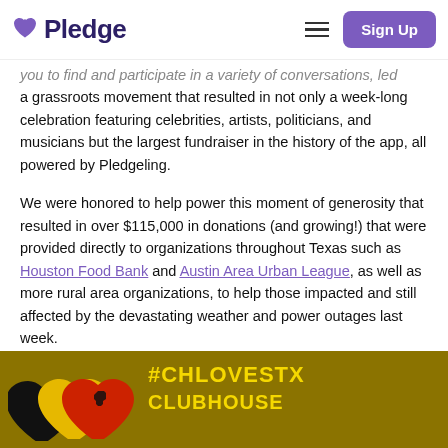Pledge | Sign Up
you to find and participate in a variety of conversations, led a grassroots movement that resulted in not only a week-long celebration featuring celebrities, artists, politicians, and musicians but the largest fundraiser in the history of the app, all powered by Pledgeling.
We were honored to help power this moment of generosity that resulted in over $115,000 in donations (and growing!) that were provided directly to organizations throughout Texas such as Houston Food Bank and Austin Area Urban League, as well as more rural area organizations, to help those impacted and still affected by the devastating weather and power outages last week.
[Figure (illustration): Dark golden/olive background image with overlapping heart shapes in black, yellow, and red colors with a Texas state outline, and text reading '#CHLOVESTX CLUBHOUSE' in yellow bold letters]